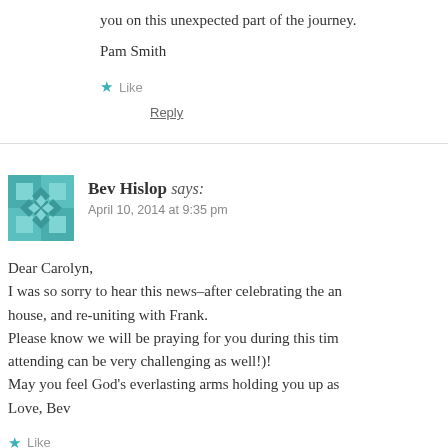you on this unexpected part of the journey.
Pam Smith
★ Like
Reply
Bev Hislop says:
April 10, 2014 at 9:35 pm
Dear Carolyn,
I was so sorry to hear this news–after celebrating the an... house, and re-uniting with Frank.
Please know we will be praying for you during this tim... attending can be very challenging as well!)!
May you feel God's everlasting arms holding you up as...
Love, Bev
★ Like